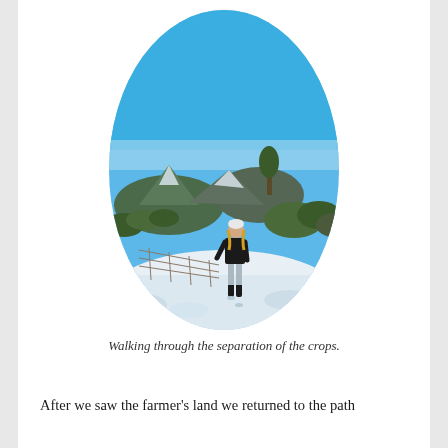[Figure (photo): Oval-framed photograph of a person walking through a snow-covered field with mountains and shrubs in the background under a clear blue sky.]
Walking through the separation of the crops.
After we saw the farmer's land we returned to the path